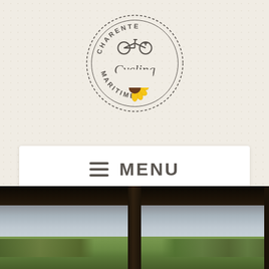[Figure (logo): Charente Maritime Cycling circular logo with bicycle icon, script 'Cycling' text, and sunflower at bottom]
≡ MENU
[Figure (photo): View through a dark wooden window frame showing cloudy sky and green landscape fields below]